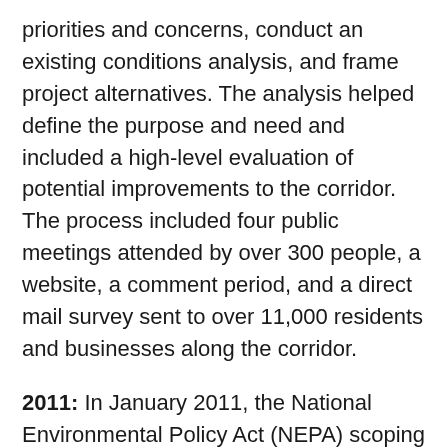priorities and concerns, conduct an existing conditions analysis, and frame project alternatives. The analysis helped define the purpose and need and included a high-level evaluation of potential improvements to the corridor. The process included four public meetings attended by over 300 people, a website, a comment period, and a direct mail survey sent to over 11,000 residents and businesses along the corridor.
2011: In January 2011, the National Environmental Policy Act (NEPA) scoping process began. The purpose of this process was to inform the public about the project and gather input on the scope of the environmental studies, draft purpose and need statement, and alternatives to be evaluated. Four